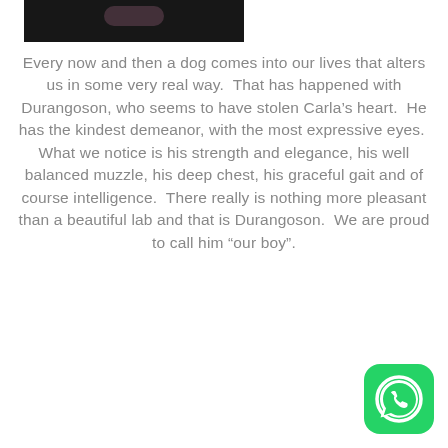[Figure (photo): Partial photo of a dark-furred dog at the top of the page, cropped showing the top portion.]
Every now and then a dog comes into our lives that alters us in some very real way.  That has happened with Durangoson, who seems to have stolen Carla’s heart.  He has the kindest demeanor, with the most expressive eyes.  What we notice is his strength and elegance, his well balanced muzzle, his deep chest, his graceful gait and of course intelligence.  There really is nothing more pleasant than a beautiful lab and that is Durangoson.  We are proud to call him “our boy”.
[Figure (logo): WhatsApp logo — green rounded square with white phone/speech-bubble icon, bottom-right corner.]